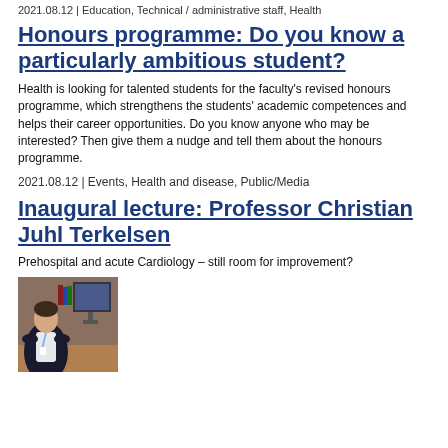2021.08.12 | Education, Technical / administrative staff, Health
Honours programme: Do you know a particularly ambitious student?
Health is looking for talented students for the faculty's revised honours programme, which strengthens the students' academic competences and helps their career opportunities. Do you know anyone who may be interested? Then give them a nudge and tell them about the honours programme.
2021.08.12 | Events, Health and disease, Public/Media
Inaugural lecture: Professor Christian Juhl Terkelsen
Prehospital and acute Cardiology – still room for improvement?
[Figure (photo): A woman sitting at a desk with a computer monitor in the background, wearing a white jacket and dark clothing with a lanyard.]